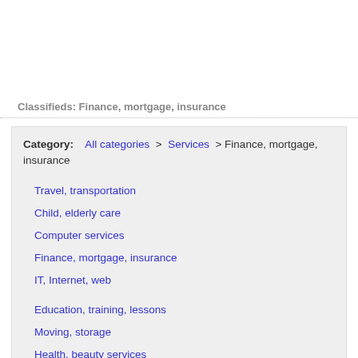Classifieds: Finance, mortgage, insurance
Category: All categories > Services > Finance, mortgage, insurance
Travel, transportation
Child, elderly care
Computer services
Finance, mortgage, insurance
IT, Internet, web
Education, training, lessons
Moving, storage
Health, beauty services